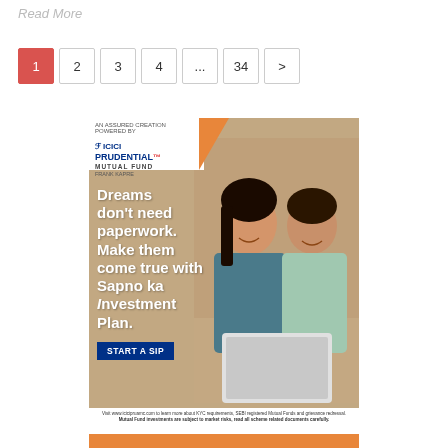Read More
1
2
3
4
...
34
>
[Figure (illustration): ICICI Prudential Mutual Fund advertisement showing a couple with a tablet. Text reads: Dreams don't need paperwork. Make them come true with Sapno ka Investment Plan. START A SIP. Disclaimer: Visit www.icicipruamc.com to learn more about KYC requirements, SEBI registered Mutual Funds and grievance redressal. Mutual Fund investments are subject to market risks, read all scheme related documents carefully.]